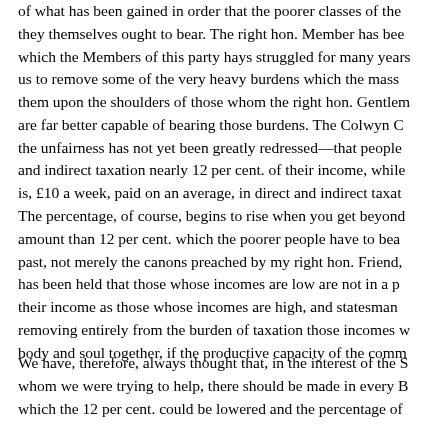of what has been gained in order that the poorer classes of the they themselves ought to bear. The right hon. Member has bee which the Members of this party hays struggled for many years us to remove some of the very heavy burdens which the mass them upon the shoulders of those whom the right hon. Gentler are far better capable of bearing those burdens. The Colwyn C the unfairness has not yet been greatly redressed—that people and indirect taxation nearly 12 per cent. of their income, while is, £10 a week, paid on an average, in direct and indirect taxat The percentage, of course, begins to rise when you get beyond amount than 12 per cent. which the poorer people have to bea past, not merely the canons preached by my right hon. Friend, has been held that those whose incomes are low are not in a p their income as those whose incomes are high, and statesman removing entirely from the burden of taxation those incomes w body and soul together, if the productive capacity of the comm
We have, therefore, always thought that, in the interest of the S whom we were trying to help, there should be made in every B which the 12 per cent. could be lowered and the percentage of